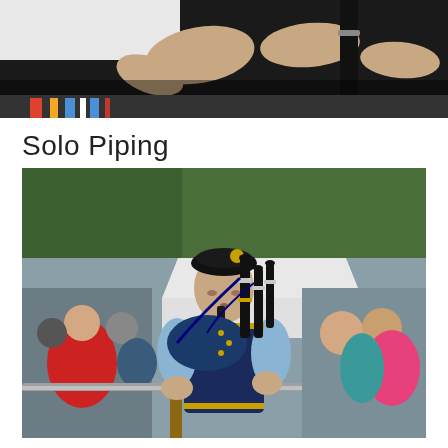[Figure (photo): Close-up photo of a hand holding a bagpipe chanter, with colorful decorative ribbons visible below.]
Solo Piping
[Figure (photo): A man in uniform playing bagpipes at an outdoor event, with a crowd of spectators and a white tent visible in the background.]